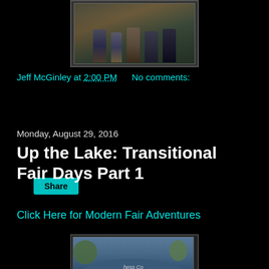[Figure (photo): Group photo of several people standing outdoors on grass]
Jeff McGinley at 2:00 PM   No comments:
[Figure (other): Share button]
Monday, August 29, 2016
Up the Lake: Transitional Fair Days Part 1
Click Here for Modern Fair Adventures
[Figure (photo): Photo of a sign that reads 'hess Co' with trees and a lamppost in background]